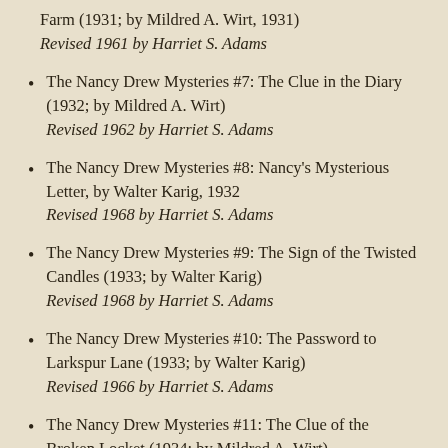Farm (1931; by Mildred A. Wirt, 1931)
Revised 1961 by Harriet S. Adams
The Nancy Drew Mysteries #7: The Clue in the Diary (1932; by Mildred A. Wirt)
Revised 1962 by Harriet S. Adams
The Nancy Drew Mysteries #8: Nancy's Mysterious Letter, by Walter Karig, 1932
Revised 1968 by Harriet S. Adams
The Nancy Drew Mysteries #9: The Sign of the Twisted Candles (1933; by Walter Karig)
Revised 1968 by Harriet S. Adams
The Nancy Drew Mysteries #10: The Password to Larkspur Lane (1933; by Walter Karig)
Revised 1966 by Harriet S. Adams
The Nancy Drew Mysteries #11: The Clue of the Broken Locket (1934; by Mildred A. Wirt)
Revised 1965 by Harriet S. Adams
The Nancy Drew Mysteries #12: The Message in the